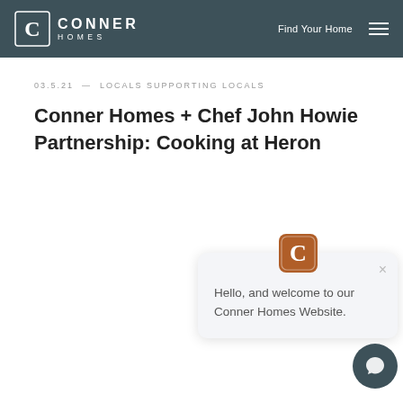CONNER HOMES — Find Your Home
03.5.21 — LOCALS SUPPORTING LOCALS
Conner Homes + Chef John Howie Partnership: Cooking at Heron
[Figure (screenshot): Chat popup widget with Conner Homes logo icon in brown/orange and message: Hello, and welcome to our Conner Homes Website. With a close X button. Below it a dark teal circular chat button with speech bubble icon.]